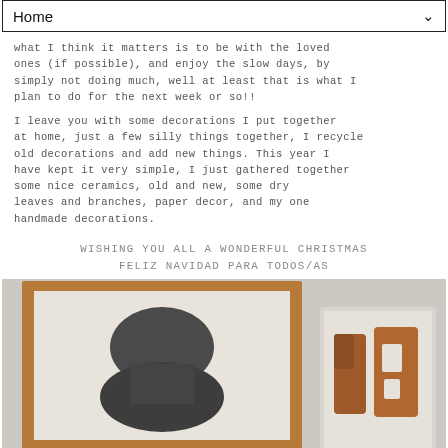Home
what I think it matters is to be with the loved ones (if possible), and enjoy the slow days, by simply not doing much, well at least that is what I plan to do for the next week or so!!
I leave you with some decorations I put together at home, just a few silly things together, I recycle old decorations and add new things. This year I have kept it very simple, I just gathered together some nice ceramics, old and new, some dry leaves and branches, paper decor, and my one handmade decorations.
WISHING YOU ALL A WONDERFUL CHRISTMAS
FELIZ NAVIDAD PARA TODOS/AS
[Figure (photo): Two framed artworks hanging on a light grey wall. Left: a large artwork with a wood frame showing an abstract dark grey shape resembling stacked rounded forms on a light background. Right: a smaller white-framed artwork showing warm terracotta/brown abstract shapes on a light background.]